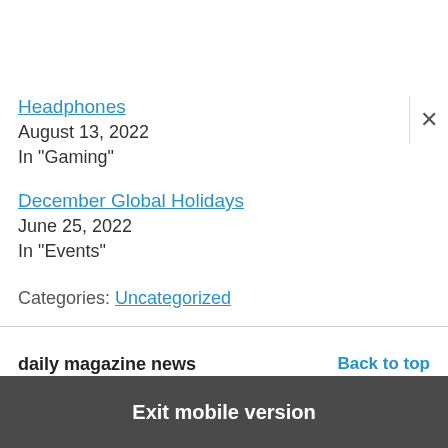Headphones
August 13, 2022
In "Gaming"
December Global Holidays
June 25, 2022
In "Events"
Categories: Uncategorized
daily magazine news
Back to top
Exit mobile version